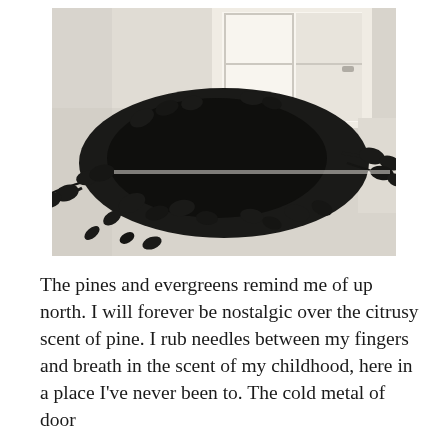[Figure (photo): Black and white photo of dark eucalyptus or similar leafy branches piled/sprawled on what appears to be a white surface, with a bright window and white walls visible in the background.]
The pines and evergreens remind me of up north. I will forever be nostalgic over the citrusy scent of pine. I rub needles between my fingers and breath in the scent of my childhood, here in a place I've never been to. The cold metal of door